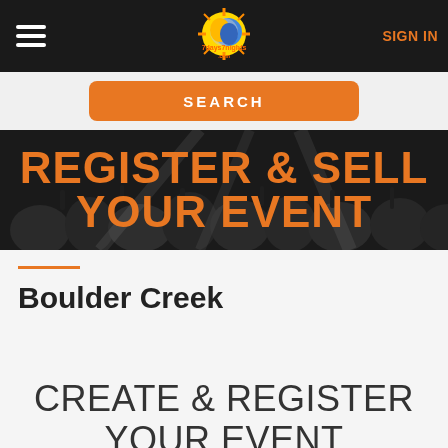SIGN IN
[Figure (logo): 7days7nights.com logo with sun and moon face illustration]
[Figure (screenshot): Orange SEARCH button]
[Figure (photo): Black and white crowd at concert/event with orange overlay text REGISTER & SELL YOUR EVENT]
REGISTER & SELL YOUR EVENT
Boulder Creek
CREATE & REGISTER YOUR EVENT